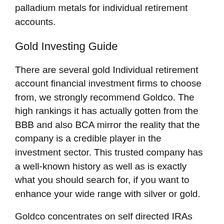palladium metals for individual retirement accounts.
Gold Investing Guide
There are several gold Individual retirement account financial investment firms to choose from, we strongly recommend Goldco. The high rankings it has actually gotten from the BBB and also BCA mirror the reality that the company is a credible player in the investment sector. This trusted company has a well-known history as well as is exactly what you should search for, if you want to enhance your wide range with silver or gold.
Goldco concentrates on self directed IRAs with precious metals, making use of